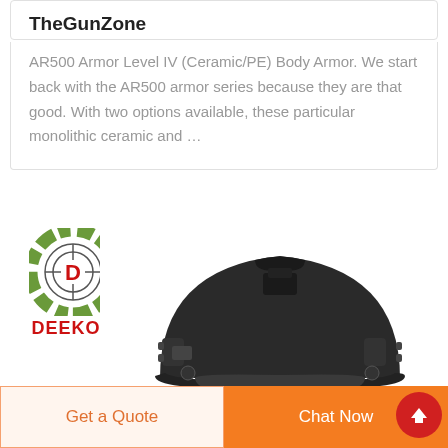TheGunZone
AR500 Armor Level IV (Ceramic/PE) Body Armor. We start back with the AR500 armor series because they are that good. With two options available, these particular monolithic ceramic and …
[Figure (logo): DEEKON logo with circular camouflage target design and red D letter, red DEEKON text below]
[Figure (photo): Black tactical/military helmet viewed from front, MICH/FAST style with rail mounts on sides, on white background]
Get a Quote
Chat Now